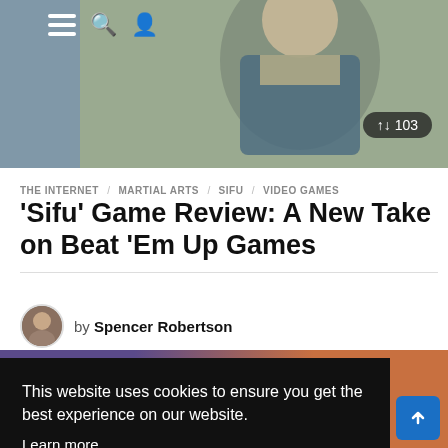[Figure (photo): Hero image of a video game character in martial arts attire]
THE INTERNET / MARTIAL ARTS / SIFU / VIDEO GAMES
'Sifu' Game Review: A New Take on Beat 'Em Up Games
by Spencer Robertson
This website uses cookies to ensure you get the best experience on our website.
Learn more
Got it!